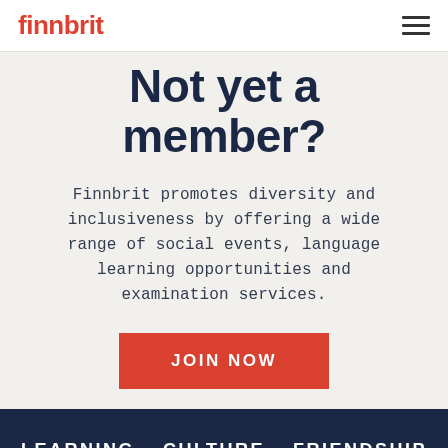finnbrit
Not yet a member?
Finnbrit promotes diversity and inclusiveness by offering a wide range of social events, language learning opportunities and examination services.
JOIN NOW
LEARNING  CULTURE  FRIENDSHIP